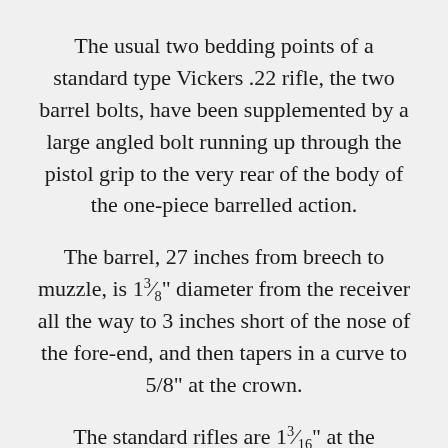The usual two bedding points of a standard type Vickers .22 rifle, the two barrel bolts, have been supplemented by a large angled bolt running up through the pistol grip to the very rear of the body of the one-piece barrelled action.
The barrel, 27 inches from breech to muzzle, is 1 3/8" diameter from the receiver all the way to 3 inches short of the nose of the fore-end, and then tapers in a curve to 5/8" at the crown.
The standard rifles are 1 3/16" at the receiver, reducing to 1" in front of